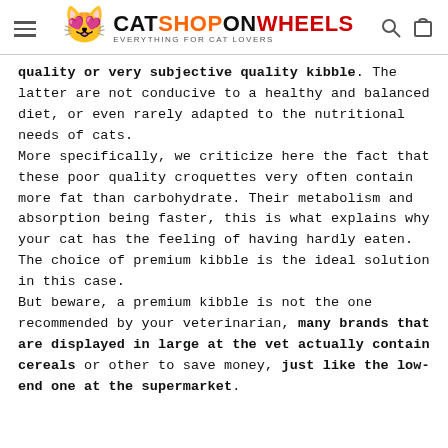CATSHOPONWHEELS — EVERYTHING FOR CAT LOVERS
quality or very subjective quality kibble. The latter are not conducive to a healthy and balanced diet, or even rarely adapted to the nutritional needs of cats.
More specifically, we criticize here the fact that these poor quality croquettes very often contain more fat than carbohydrate. Their metabolism and absorption being faster, this is what explains why your cat has the feeling of having hardly eaten. The choice of premium kibble is the ideal solution in this case.
But beware, a premium kibble is not the one recommended by your veterinarian, many brands that are displayed in large at the vet actually contain cereals or other to save money, just like the low-end one at the supermarket.